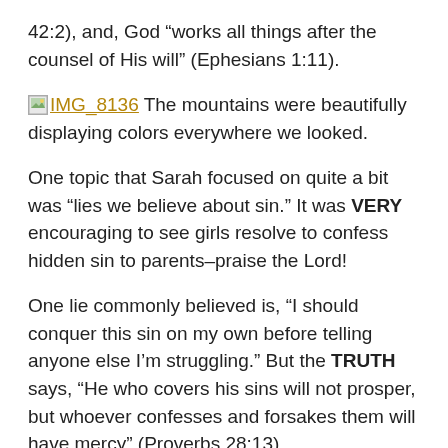42:2), and, God “works all things after the counsel of His will” (Ephesians 1:11).
[IMG_8136] The mountains were beautifully displaying colors everywhere we looked.
One topic that Sarah focused on quite a bit was “lies we believe about sin.” It was VERY encouraging to see girls resolve to confess hidden sin to parents–praise the Lord!
One lie commonly believed is, “I should conquer this sin on my own before telling anyone else I’m struggling.” But the TRUTH says, “He who covers his sins will not prosper, but whoever confesses and forsakes them will have mercy” (Proverbs 28:13).
There are many other lies, such as, “That happened so long